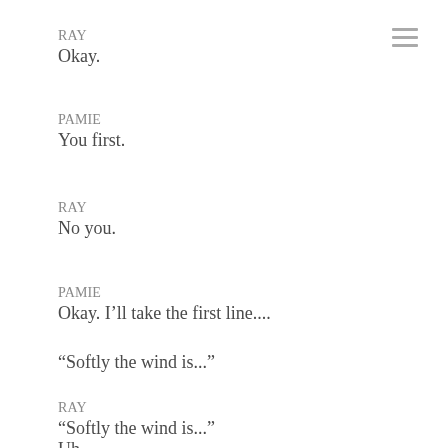RAY
Okay.
PAMIE
You first.
RAY
No you.
PAMIE
Okay. I'll take the first line....
“Softly the wind is...”
RAY
“Softly the wind is...”
Uh...